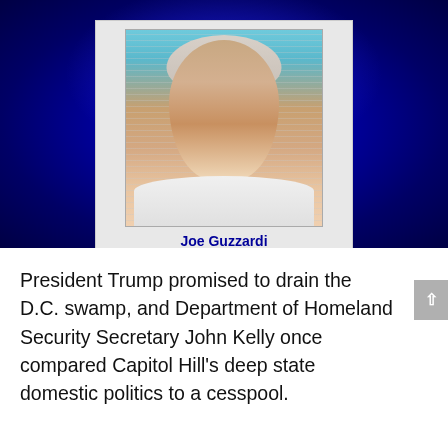[Figure (photo): Blue-background TV broadcast graphic showing a headshot photo of a middle-aged man with gray hair, smiling, wearing a white shirt, with a name label 'Joe Guzzardi' in bold dark blue text beneath the photo on a light gray card]
President Trump promised to drain the D.C. swamp, and Department of Homeland Security Secretary John Kelly once compared Capitol Hill's deep state domestic politics to a cesspool.